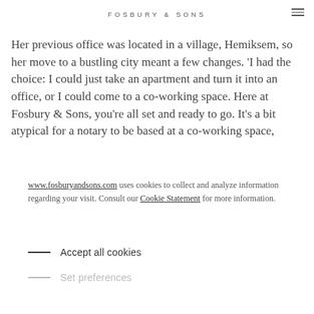FOSBURY & SONS
Her previous office was located in a village, Hemiksem, so her move to a bustling city meant a few changes. 'I had the choice: I could just take an apartment and turn it into an office, or I could come to a co-working space. Here at Fosbury & Sons, you're all set and ready to go. It's a bit atypical for a notary to be based at a co-working space,
www.fosburyandsons.com uses cookies to collect and analyze information regarding your visit. Consult our Cookie Statement for more information.
Accept all cookies
Set preferences